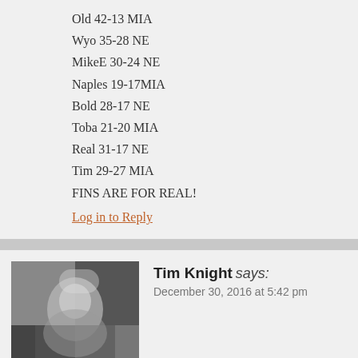Old 42-13 MIA
Wyo 35-28 NE
MikeE 30-24 NE
Naples 19-17MIA
Bold 28-17 NE
Toba 21-20 MIA
Real 31-17 NE
Tim 29-27 MIA
FINS ARE FOR REAL!
Log in to Reply
Tim Knight says:
December 30, 2016 at 5:42 pm
[Figure (photo): Avatar photo of Tim Knight - appears to show a person at a sporting event]
My approach for this game would be anyone who and that's it. Anyone who should have a week off game does matter that much to us, we're on the ro